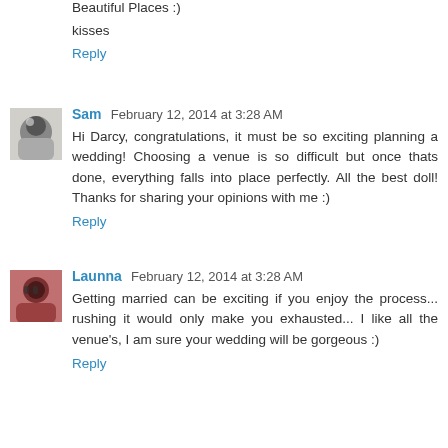Beautiful Places :)
kisses
Reply
Sam  February 12, 2014 at 3:28 AM
Hi Darcy, congratulations, it must be so exciting planning a wedding! Choosing a venue is so difficult but once thats done, everything falls into place perfectly. All the best doll! Thanks for sharing your opinions with me :)
Reply
Launna  February 12, 2014 at 3:28 AM
Getting married can be exciting if you enjoy the process... rushing it would only make you exhausted... I like all the venue's, I am sure your wedding will be gorgeous :)
Reply